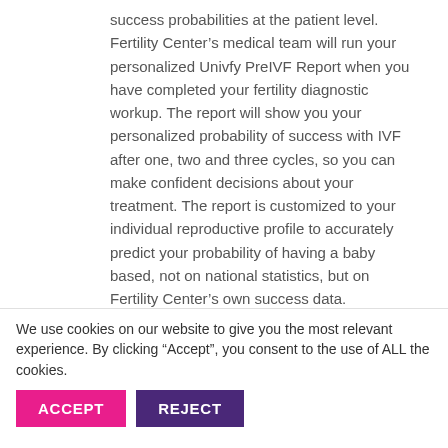success probabilities at the patient level.

Fertility Center’s medical team will run your personalized Univfy PreIVF Report when you have completed your fertility diagnostic workup. The report will show you your personalized probability of success with IVF after one, two and three cycles, so you can make confident decisions about your treatment. The report is customized to your individual reproductive profile to accurately predict your probability of having a baby based, not on national statistics, but on Fertility Center’s own success data.
We use cookies on our website to give you the most relevant experience. By clicking “Accept”, you consent to the use of ALL the cookies.